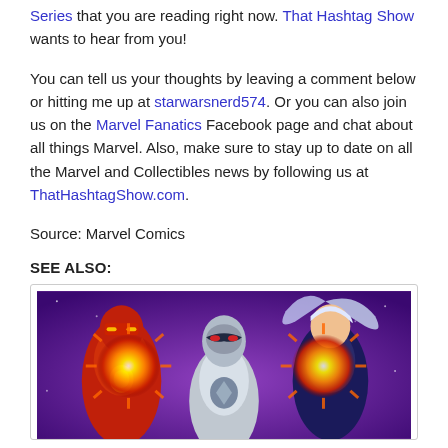Series that you are reading right now. That Hashtag Show wants to hear from you!
You can tell us your thoughts by leaving a comment below or hitting me up at starwarsnerd574. Or you can also join us on the Marvel Fanatics Facebook page and chat about all things Marvel. Also, make sure to stay up to date on all the Marvel and Collectibles news by following us at ThatHashtagShow.com.
Source: Marvel Comics
SEE ALSO:
[Figure (illustration): Comic book illustration showing Marvel superheroes including Iron Man and two female characters with energy blasts, against a purple cosmic background.]